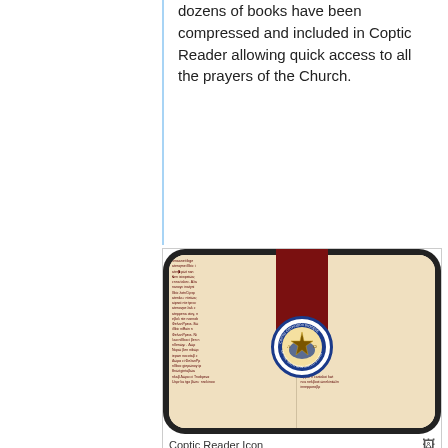dozens of books have been compressed and included in Coptic Reader allowing quick access to all the prayers of the Church.
[Figure (screenshot): Coptic Reader app icon showing an open book with Coptic text, a dark red bookmark ribbon, and the Coptic Orthodox Diocese of the Southern United States seal overlaid on the center.]
Coptic Reader Icon